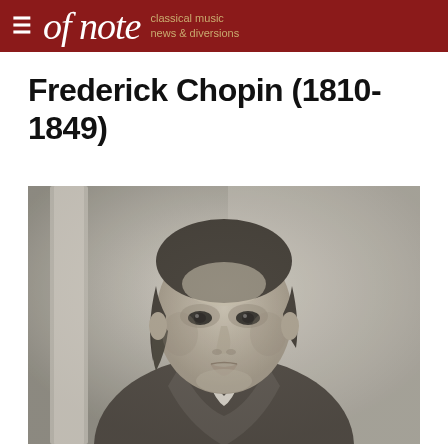of note — classical music news & diversions
Frederick Chopin (1810-1849)
[Figure (photo): Black and white historical photograph portrait of Frédéric Chopin, showing him from the chest up, wearing a dark coat and cravat, with dark wavy hair, looking directly at the camera with a serious expression. A classical architectural column is visible in the background.]